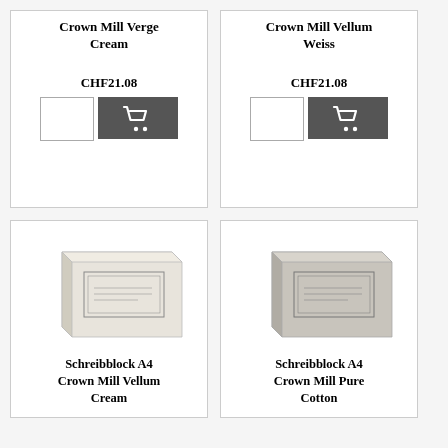Crown Mill Verge Cream
CHF21.08
Crown Mill Vellum Weiss
CHF21.08
[Figure (photo): Schreibblock A4 Crown Mill Vellum Cream notebook, light cream/off-white color]
Schreibblock A4 Crown Mill Vellum Cream
[Figure (photo): Schreibblock A4 Crown Mill Pure Cotton notebook, light gray color]
Schreibblock A4 Crown Mill Pure Cotton